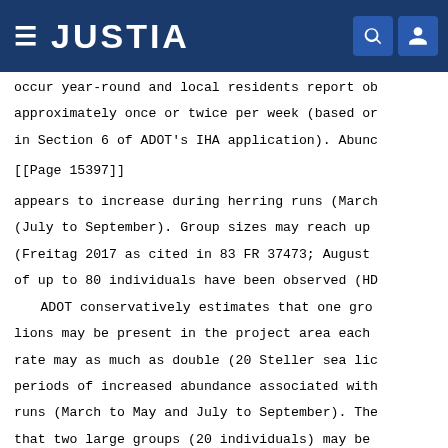JUSTIA
occur year-round and local residents report ob approximately once or twice per week (based or in Section 6 of ADOT's IHA application). Abund
[[Page 15397]]
appears to increase during herring runs (March (July to September). Group sizes may reach up (Freitag 2017 as cited in 83 FR 37473; August of up to 80 individuals have been observed (HD ADOT conservatively estimates that one gro lions may be present in the project area each rate may as much as double (20 Steller sea lic periods of increased abundance associated with runs (March to May and July to September). The that two large groups (20 individuals) may be harassment each day during these months. To be